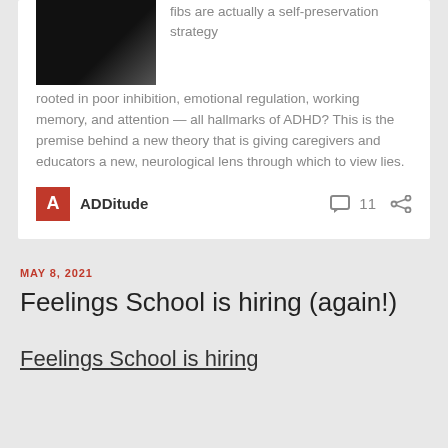fibs are actually a self-preservation strategy rooted in poor inhibition, emotional regulation, working memory, and attention — all hallmarks of ADHD? This is the premise behind a new theory that is giving caregivers and educators a new, neurological lens through which to view lies.
ADDitude  11
MAY 8, 2021
Feelings School is hiring (again!)
Feelings School is hiring